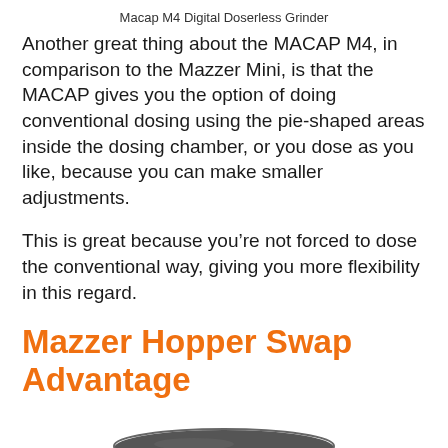Macap M4 Digital Doserless Grinder
Another great thing about the MACAP M4, in comparison to the Mazzer Mini, is that the MACAP gives you the option of doing conventional dosing using the pie-shaped areas inside the dosing chamber, or you dose as you like, because you can make smaller adjustments.
This is great because you’re not forced to dose the conventional way, giving you more flexibility in this regard.
Mazzer Hopper Swap Advantage
[Figure (photo): Bottom portion of a coffee grinder component, showing a dark circular disc/hopper base, partially visible at the bottom of the page.]